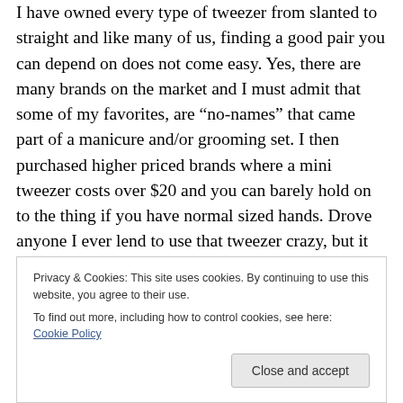I have owned every type of tweezer from slanted to straight and like many of us, finding a good pair you can depend on does not come easy. Yes, there are many brands on the market and I must admit that some of my favorites, are “no-names” that came part of a manicure and/or grooming set. I then purchased higher priced brands where a mini tweezer costs over $20 and you can barely hold on to the thing if you have normal sized hands. Drove anyone I ever lend to use that tweezer crazy, but it created laughs while you are trying to dig out a splinter, so I saw it as a great distraction while you are digging into
Privacy & Cookies: This site uses cookies. By continuing to use this website, you agree to their use.
To find out more, including how to control cookies, see here: Cookie Policy
Close and accept